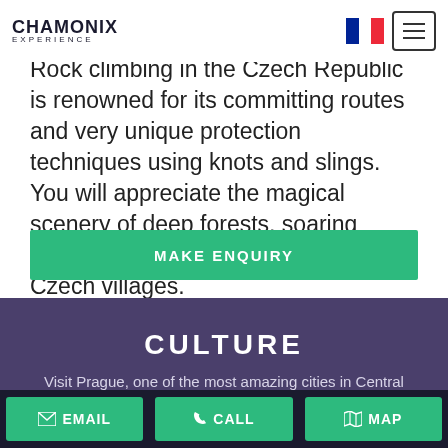CHAMONIX EXPERIENCE
Rock climbing in the Czech Republic is renowned for its committing routes and very unique protection techniques using knots and slings. You will appreciate the magical scenery of deep forests, soaring sandstone towers, and authentic Czech villages.
MAKE ENQUIRY
CULTURE
Visit Prague, one of the most amazing cities in Central Europe.
EMAIL  CALL  MAP